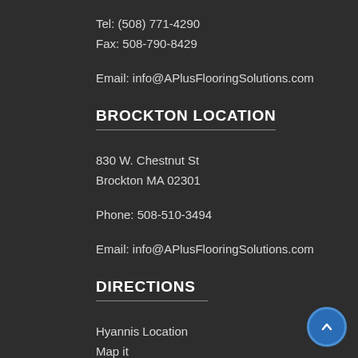Tel: (508) 771-4290
Fax: 508-790-8429
Email: info@APlusFlooringSolutions.com
BROCKTON LOCATION
830 W. Chestnut St
Brockton MA 02301
Phone: 508-510-3494
Email: info@APlusFlooringSolutions.com
DIRECTIONS
Hyannis Location
Map it
Brockton Location
Map it